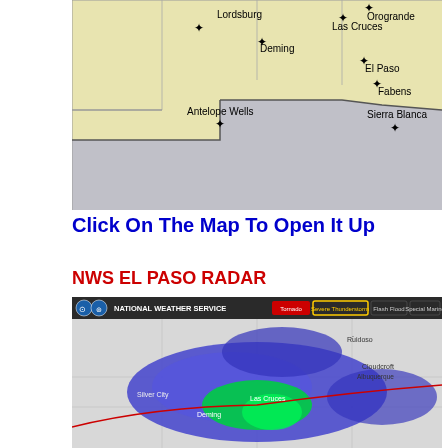[Figure (map): Regional map showing Lordsburg, Deming, Las Cruces, Orogrande, El Paso, Fabens, Antelope Wells, Sierra Blanca. Yellow/tan area in upper portion, gray area below indicating a border region or forecast zone. Black diamond markers on city locations.]
Click On The Map To Open It Up
NWS EL PASO RADAR
[Figure (map): NWS El Paso radar image showing National Weather Service header with Tornado, Severe Thunderstorm, Flash Flood, Special Marine warning buttons. Radar image shows precipitation coverage over the El Paso/Las Cruces/Silver City/Deming area with blue and green radar returns indicating precipitation. Cities labeled include Ruidoso, Cloudcroft, Albuquerque, Silver City, Las Cruces, Deming.]